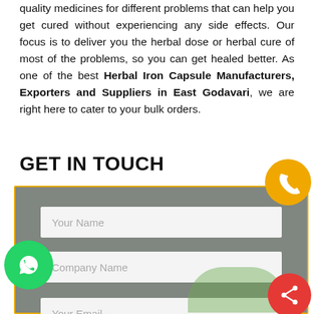quality medicines for different problems that can help you get cured without experiencing any side effects. Our focus is to deliver you the herbal dose or herbal cure of most of the problems, so you can get healed better. As one of the best Herbal Iron Capsule Manufacturers, Exporters and Suppliers in East Godavari, we are right here to cater to your bulk orders.
GET IN TOUCH
[Figure (screenshot): A contact form with fields: Your Name, Company Name, Your Email, inside a gray box with an orange border. Overlaid with a yellow phone icon circle (top right), a green WhatsApp icon circle (left), and a red share icon circle (bottom right).]